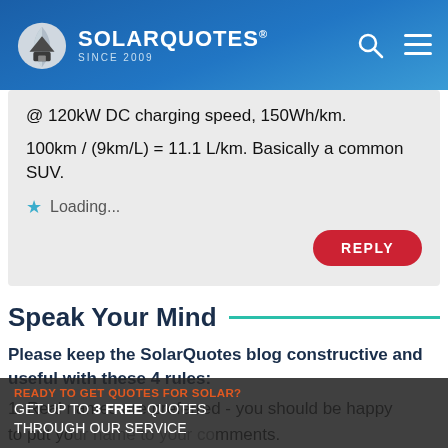SOLARQUOTES® SINCE 2009
@ 120kW DC charging speed, 150Wh/km.

100km / (9km/L) = 11.1 L/km. Basically a common SUV.
Loading...
Speak Your Mind
Please keep the SolarQuotes blog constructive and useful with these 4 rules:
1. Real names are preferred - you should be happy to put your name to your comments.
2. Put down your weapons.
READY TO GET QUOTES FOR SOLAR?
GET UP TO 3 FREE QUOTES THROUGH OUR SERVICE